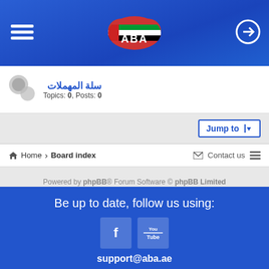[Figure (screenshot): ABA forum website header with blue background, hamburger menu icon on left, ABA cloud logo in center, login/arrow icon on right]
سلة المهملات
Topics: 0, Posts: 0
Jump to
Home › Board index   Contact us
Powered by phpBB® Forum Software © phpBB Limited
Style by Arty - phpBB 3.3 by MrGaby
Privacy | Terms
Be up to date, follow us using:
support@aba.ae